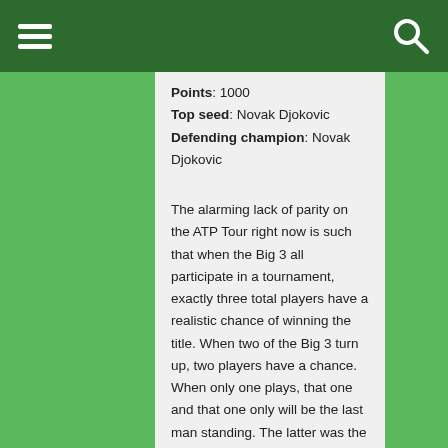Points: 1000
Top seed: Novak Djokovic
Defending champion: Novak Djokovic
The alarming lack of parity on the ATP Tour right now is such that when the Big 3 all participate in a tournament, exactly three total players have a realistic chance of winning the title. When two of the Big 3 turn up, two players have a chance. When only one plays, that one and that one only will be the last man standing. The latter was the case in Montreal, where Nadal mostly sleepwalked his way to a fifth Rogers Cup title while Djokovic and Federer rested in advance of Cincinnati and the U.S. Open. Now Nadal is out; Djokovic and Federer are in.